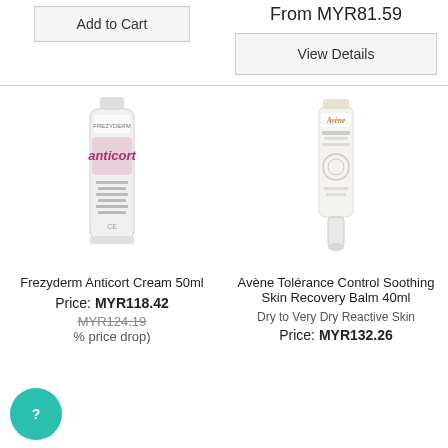Add to Cart
From MYR81.59
View Details
[Figure (photo): Frezyderm Anticort Cream 50ml tube product image]
[Figure (photo): Avène Tolérance Control Soothing Skin Recovery Balm 40ml product image]
Frezyderm Anticort Cream 50ml
Price: MYR118.42
MYR124.19
% price drop)
Avène Tolérance Control Soothing Skin Recovery Balm 40ml
Dry to Very Dry Reactive Skin
Price: MYR132.26